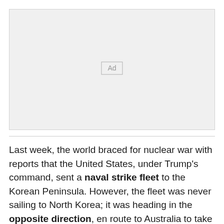[Figure (other): Advertisement placeholder box with 'Ad' label]
Last week, the world braced for nuclear war with reports that the United States, under Trump's command, sent a naval strike fleet to the Korean Peninsula. However, the fleet was never sailing to North Korea; it was heading in the opposite direction, en route to Australia to take part in joint exercises 2,500 miles away;